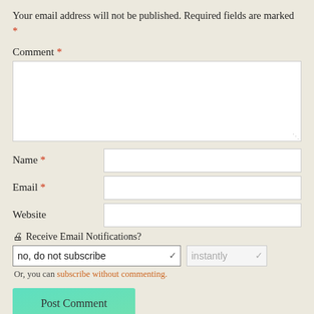Your email address will not be published. Required fields are marked *
Comment *
Name *
Email *
Website
🖨 Receive Email Notifications?
no, do not subscribe
Or, you can subscribe without commenting.
Post Comment